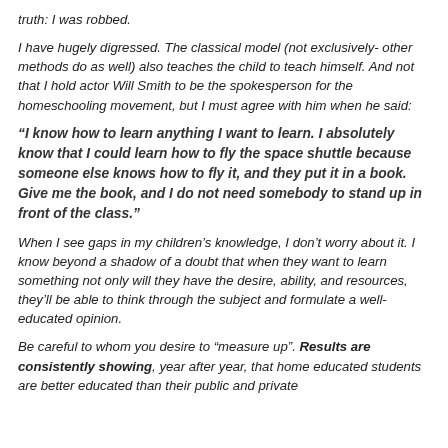truth: I was robbed.
I have hugely digressed. The classical model (not exclusively- other methods do as well) also teaches the child to teach himself. And not that I hold actor Will Smith to be the spokesperson for the homeschooling movement, but I must agree with him when he said:
“I know how to learn anything I want to learn. I absolutely know that I could learn how to fly the space shuttle because someone else knows how to fly it, and they put it in a book. Give me the book, and I do not need somebody to stand up in front of the class.”
When I see gaps in my children’s knowledge, I don’t worry about it. I know beyond a shadow of a doubt that when they want to learn something not only will they have the desire, ability, and resources, they’ll be able to think through the subject and formulate a well-educated opinion.
Be careful to whom you desire to “measure up”. Results are consistently showing, year after year, that home educated students are better educated than their public and private